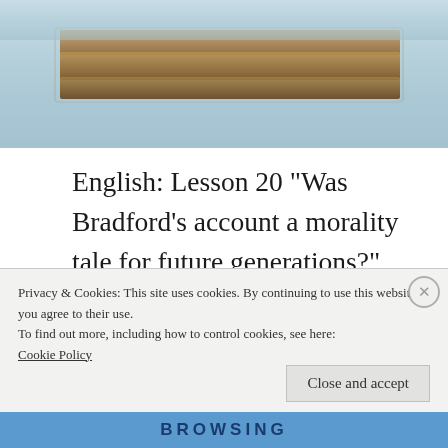[Figure (photo): Stack of books photographed from above on a light surface, with warm brown book spines visible]
English: Lesson 20 "Was Bradford's account a morality tale for future generations?" William Bradford was an English Puritan Separatist who wrote an account of his and his fellow separatists' journey from England to the Netherlands, then onto America. The journal is called Of Plymouth Plantation and documents
Privacy & Cookies: This site uses cookies. By continuing to use this website, you agree to their use.
To find out more, including how to control cookies, see here:
Cookie Policy
Close and accept
BROWSING